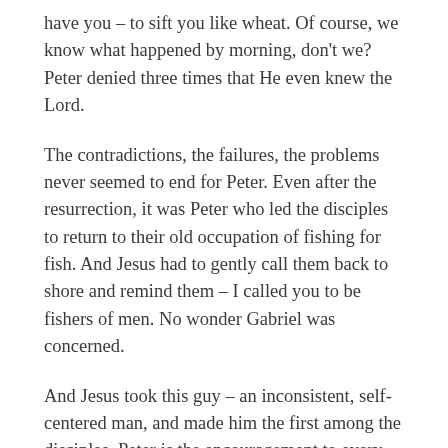have you – to sift you like wheat. Of course, we know what happened by morning, don't we? Peter denied three times that He even knew the Lord.
The contradictions, the failures, the problems never seemed to end for Peter. Even after the resurrection, it was Peter who led the disciples to return to their old occupation of fishing for fish. And Jesus had to gently call them back to shore and remind them – I called you to be fishers of men. No wonder Gabriel was concerned.
And Jesus took this guy – an inconsistent, self-centered man, and made him the first among the disciples. Peter is the encouragement to every person in this room who has ever tried, and messed up. Every person in this room who finds the mouth open before the brain engaged.